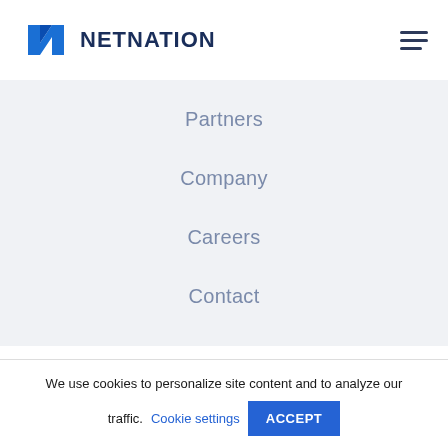[Figure (logo): NetNation logo with blue angular N icon and bold dark blue NETNATION text]
Partners
Company
Careers
Contact
Contact Us
We use cookies to personalize site content and to analyze our traffic. Cookie settings ACCEPT